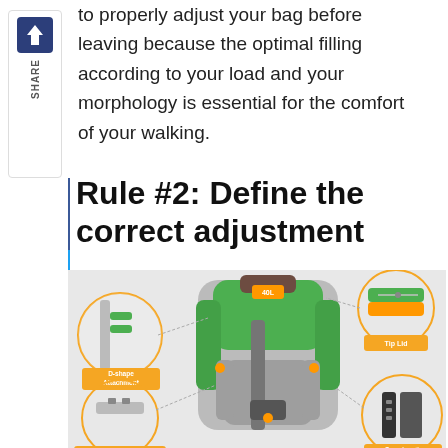to properly adjust your bag before leaving because the optimal filling according to your load and your morphology is essential for the comfort of your walking.
Rule #2: Define the correct adjustment
[Figure (photo): A green and grey hiking backpack shown from the back, with labeled callout circles pointing to various parts: D-shape Attachment (upper left strap area), Tip Lid (upper right, zipper area), Adjustable Sternum Strap (lower left), and Torso-Length Adjustment (lower right).]